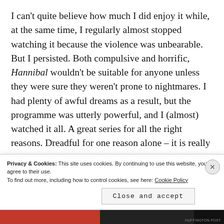I can't quite believe how much I did enjoy it while, at the same time, I regularly almost stopped watching it because the violence was unbearable. But I persisted. Both compulsive and horrific, Hannibal wouldn't be suitable for anyone unless they were sure they weren't prone to nightmares. I had plenty of awful dreams as a result, but the programme was utterly powerful, and I (almost) watched it all. A great series for all the right reasons. Dreadful for one reason alone – it is really nauseating. But I'm so glad I sat through it to
Privacy & Cookies: This site uses cookies. By continuing to use this website, you agree to their use.
To find out more, including how to control cookies, see here: Cookie Policy
Close and accept